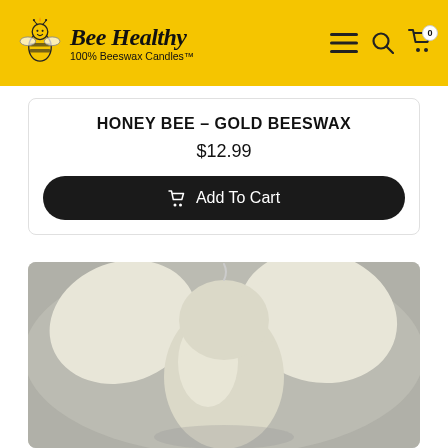Bee Healthy 100% Beeswax Candles
HONEY BEE – GOLD BEESWAX
$12.99
Add To Cart
[Figure (photo): Close-up photo of a cream/white beeswax candle shaped like a bee, shown against a grey background.]